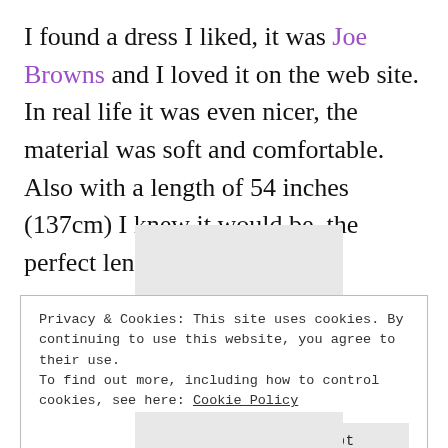I found a dress I liked, it was Joe Browns and I loved it on the web site. In real life it was even nicer, the material was soft and comfortable. Also with a length of 54 inches (137cm) I knew it would be  the perfect length.
[Figure (other): Gray placeholder image rectangle]
Privacy & Cookies: This site uses cookies. By continuing to use this website, you agree to their use.
To find out more, including how to control cookies, see here: Cookie Policy
Close and accept
[Figure (other): Gray placeholder image rectangle at bottom]